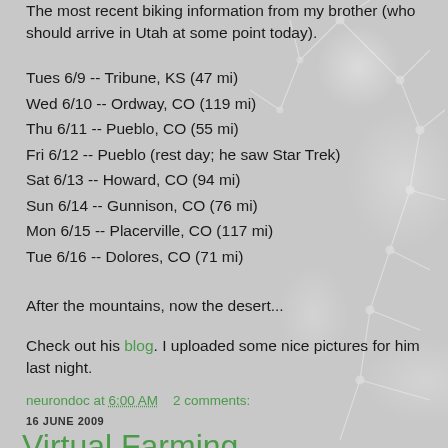The most recent biking information from my brother (who should arrive in Utah at some point today).
Tues 6/9 -- Tribune, KS (47 mi)
Wed 6/10 -- Ordway, CO (119 mi)
Thu 6/11 -- Pueblo, CO (55 mi)
Fri 6/12 -- Pueblo (rest day; he saw Star Trek)
Sat 6/13 -- Howard, CO (94 mi)
Sun 6/14 -- Gunnison, CO (76 mi)
Mon 6/15 -- Placerville, CO (117 mi)
Tue 6/16 -- Dolores, CO (71 mi)
After the mountains, now the desert...
Check out his blog. I uploaded some nice pictures for him last night.
neurondoc at 6:00 AM    2 comments:
16 JUNE 2009
Virtual Farming